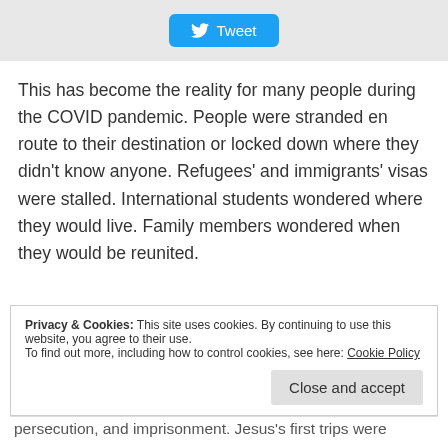[Figure (other): Tweet button with Twitter bird logo on a grey background bar]
This has become the reality for many people during the COVID pandemic. People were stranded en route to their destination or locked down where they didn't know anyone. Refugees' and immigrants' visas were stalled. International students wondered where they would live. Family members wondered when they would be reunited.
Privacy & Cookies: This site uses cookies. By continuing to use this website, you agree to their use. To find out more, including how to control cookies, see here: Cookie Policy
persecution, and imprisonment. Jesus's first trips were